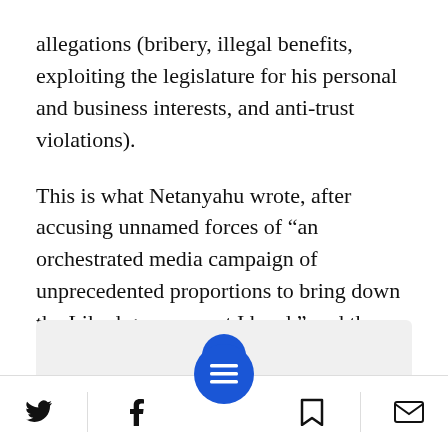allegations (bribery, illegal benefits, exploiting the legislature for his personal and business interests, and anti-trust violations).
This is what Netanyahu wrote, after accusing unnamed forces of “an orchestrated media campaign of unprecedented proportions to bring down the Likud government I head,” and the spreading of “deliberate lies” about him:
[Figure (screenshot): A light grey box with a blue circular icon (letter N logo) and partial text reading 'Breaking news and' at the bottom, partially obscured by a blue circular menu button overlay.]
Twitter icon | Facebook icon | Menu button | Bookmark icon | Mail icon